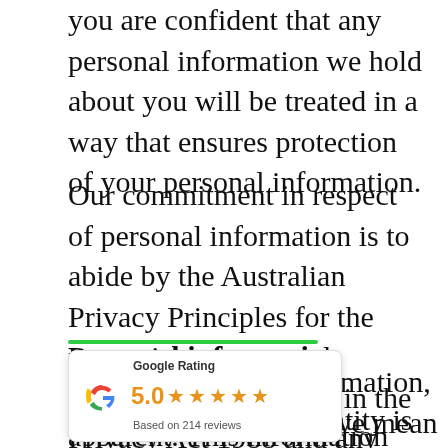you are confident that any personal information we hold about you will be treated in a way that ensures protection of your personal information.
Our commitment in respect of personal information is to abide by the Australian Privacy Principles for the protection of personal information, as set out in the Privacy Act 1988 and any other relevant laws.
Personal information
[Figure (other): Google Rating widget showing 5.0 stars based on 214 reviews, with Google 'G' logo in red/yellow/green/blue colors.]
...rmation, we mean ...ntity is reasonably apparent. This information may include information or an opinion about you.